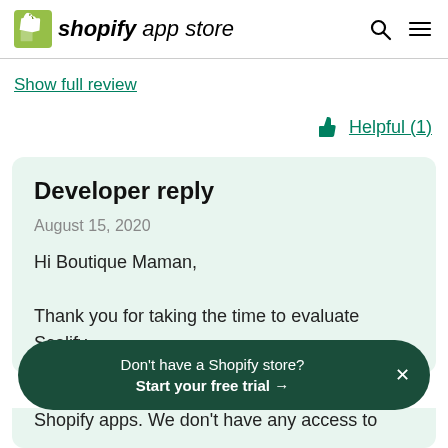shopify app store
Show full review
Helpful (1)
Developer reply
August 15, 2020
Hi Boutique Maman,

Thank you for taking the time to evaluate Scalify.
Don't have a Shopify store? Start your free trial →
Shopify apps. We don't have any access to